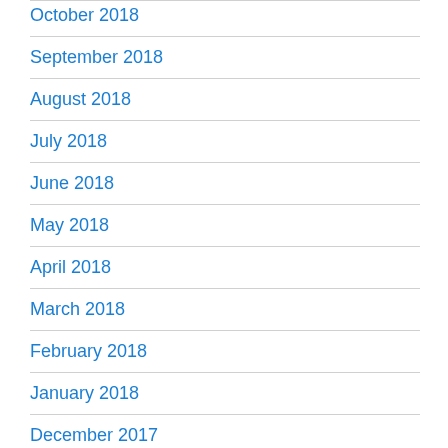October 2018
September 2018
August 2018
July 2018
June 2018
May 2018
April 2018
March 2018
February 2018
January 2018
December 2017
November 2017
October 2017